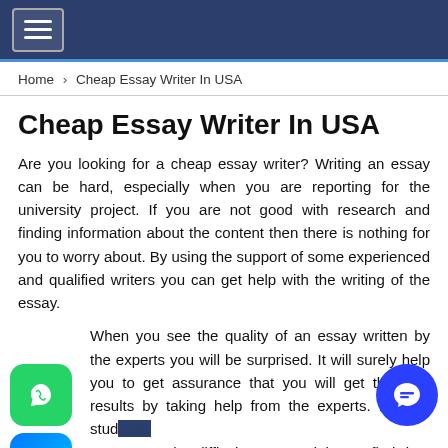Navigation header with hamburger menu
Home > Cheap Essay Writer In USA
Cheap Essay Writer In USA
Are you looking for a cheap essay writer? Writing an essay can be hard, especially when you are reporting for the university project. If you are not good with research and finding information about the content then there is nothing for you to worry about. By using the support of some experienced and qualified writers you can get help with the writing of the essay.
When you see the quality of an essay written by the experts you will be surprised. It will surely help you to get assurance that you will get the best results by taking help from the experts. For the students, essays can be difficult as you might not find time for the schedule as some of you have classes, labs, and even part-time jobs. So you can leave all the research work to the experts.